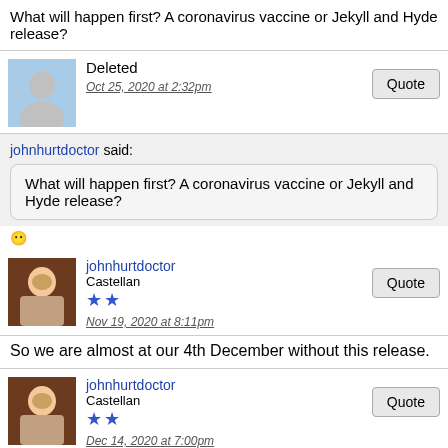What will happen first? A coronavirus vaccine or Jekyll and Hyde release?
Deleted
Oct 25, 2020 at 2:32pm
johnhurtdoctor said:
What will happen first? A coronavirus vaccine or Jekyll and Hyde release?
johnhurtdoctor
Castellan
Nov 19, 2020 at 8:11pm
So we are almost at our 4th December without this release.
johnhurtdoctor
Castellan
Dec 14, 2020 at 7:00pm